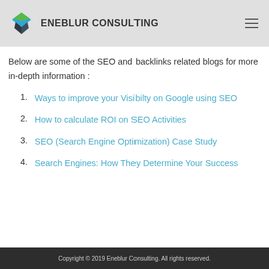ENEBLUR CONSULTING
Below are some of the SEO and backlinks related blogs for more in-depth information :
1. Ways to improve your Visibilty on Google using SEO
2. How to calculate ROI on SEO Activities
3. SEO (Search Engine Optimization) Case Study
4. Search Engines: How They Determine Your Success
Copyright © 2019 Eneblur Consulting. All rights reserved.